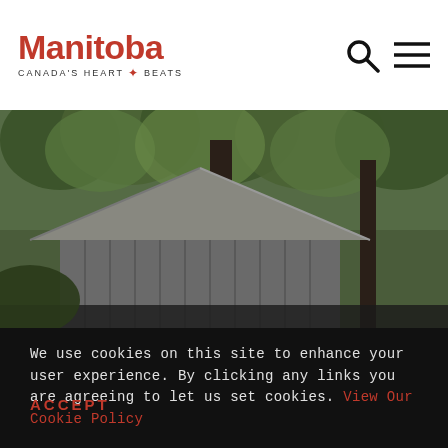Manitoba Canada's Heart Beats
[Figure (photo): A rustic wooden barn structure with a metal roof surrounded by dense green leafy trees, photographed in muted tones suggesting overcast weather.]
We use cookies on this site to enhance your user experience. By clicking any links you are agreeing to let us set cookies. View Our Cookie Policy
ACCEPT